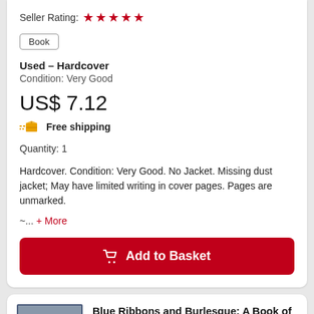Seller Rating: ★★★★★
Book
Used – Hardcover
Condition: Very Good
US$ 7.12
Free shipping
Quantity: 1
Hardcover. Condition: Very Good. No Jacket. Missing dust jacket; May have limited writing in cover pages. Pages are unmarked. ~... + More
Add to Basket
Blue Ribbons and Burlesque: A Book of Country Fairs
Charles Fish
Published by Norton & Company, Incorporated, W. W., 1998